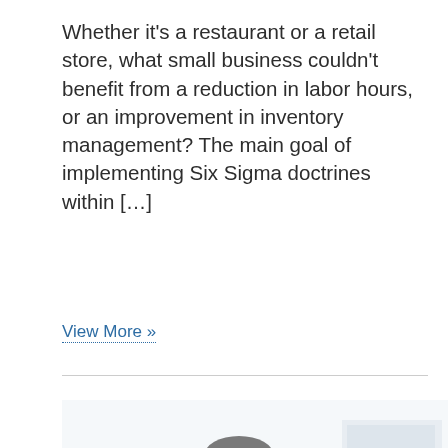Whether it's a restaurant or a retail store, what small business couldn't benefit from a reduction in labor hours, or an improvement in inventory management? The main goal of implementing Six Sigma doctrines within […]
View More »
[Figure (photo): A businessman in a dark suit and light blue tie leaning over a white desk, looking down, with a white coffee mug visible on the desk and office shelving in the background.]
Six Sigma 2016: Excellence is an